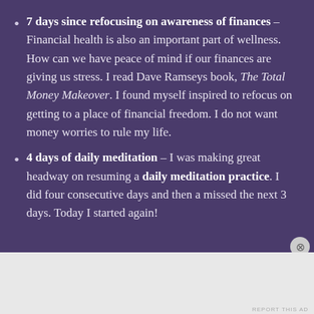7 days since refocusing on awareness of finances – Financial health is also an important part of wellness. How can we have peace of mind if our finances are giving us stress. I read Dave Ramseys book, The Total Money Makeover. I found myself inspired to refocus on getting to a place of financial freedom. I do not want money worries to rule my life.
4 days of daily meditation – I was making great headway on resuming a daily meditation practice. I did four consecutive days and then a missed the next 3 days. Today I started again!
Advertisements
AUTOMATTIC
Build a better web and a better world.